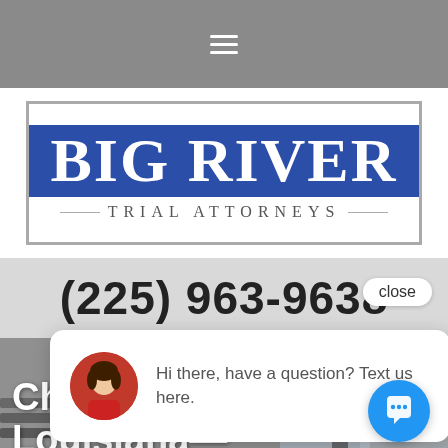Navigation menu (hamburger icon)
[Figure (logo): Big River Trial Attorneys logo — blue rectangle with white serif text 'BIG RIVER' and subtitle 'TRIAL ATTORNEYS' in gray]
(225) 963-9638
close
[Figure (photo): Chat popup with avatar photo of a woman and text: Hi there, have a question? Text us here.]
Child Custody in Louisiana—
[Figure (photo): Background photo of a courtroom interior with justice statue (Lady Justice) visible]